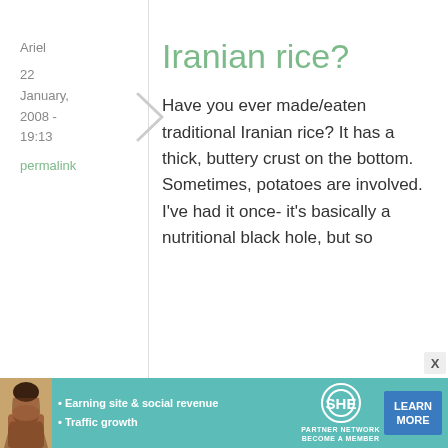Ariel
22 January, 2008 - 19:13
permalink
Iranian rice?
Have you ever made/eaten traditional Iranian rice? It has a thick, buttery crust on the bottom. Sometimes, potatoes are involved. I've had it once- it's basically a nutritional black hole, but so
[Figure (infographic): SHE Partner Network advertisement banner with woman photo, bullet points about earning site & social revenue and traffic growth, SHE logo, and Learn More button]